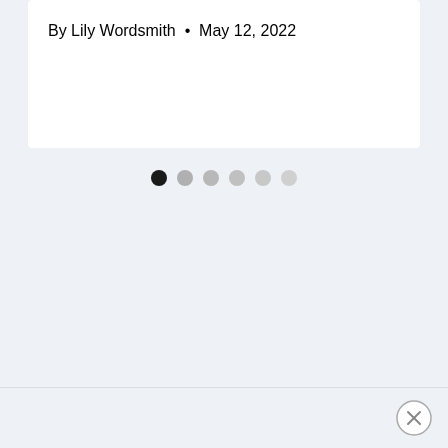By Lily Wordsmith  •  May 12, 2022
[Figure (other): Carousel pagination dots — one dark filled dot (active) followed by five progressively lighter gray dots]
[Figure (other): Close button (X in a circle) in the bottom-right corner]